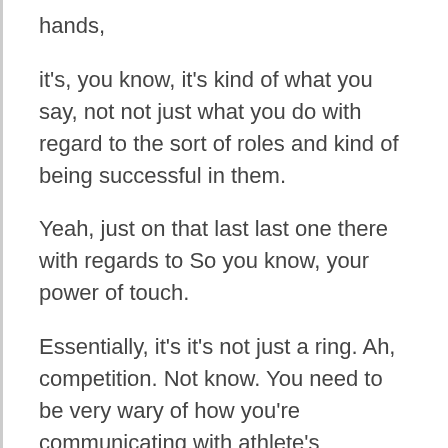hands,
it's, you know, it's kind of what you say, not not just what you do with regard to the sort of roles and kind of being successful in them.
Yeah, just on that last last one there with regards to So you know, your power of touch.
Essentially, it's it's not just a ring. Ah, competition. Not know. You need to be very wary of how you're communicating with athlete's throughout the whole,